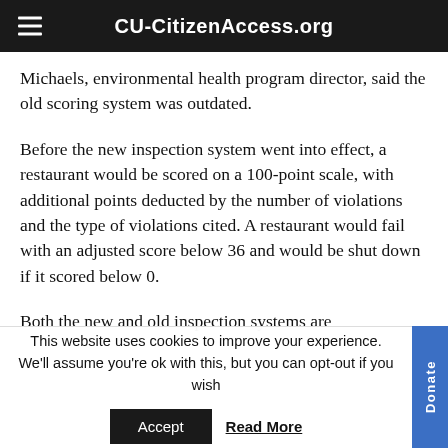CU-CitizenAccess.org
Michaels, environmental health program director, said the old scoring system was outdated.
Before the new inspection system went into effect, a restaurant would be scored on a 100-point scale, with additional points deducted by the number of violations and the type of violations cited. A restaurant would fail with an adjusted score below 36 and would be shut down if it scored below 0.
Both the new and old inspection systems are
This website uses cookies to improve your experience. We'll assume you're ok with this, but you can opt-out if you wish
Accept
Read More
Donate